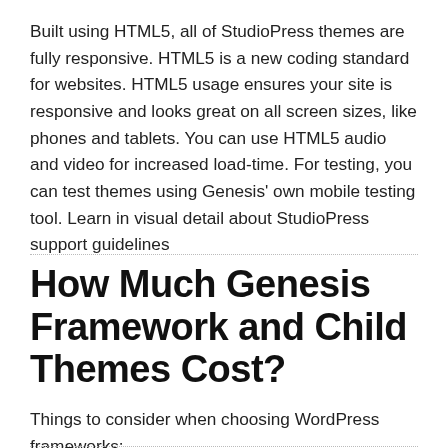Built using HTML5, all of StudioPress themes are fully responsive. HTML5 is a new coding standard for websites. HTML5 usage ensures your site is responsive and looks great on all screen sizes, like phones and tablets. You can use HTML5 audio and video for increased load-time. For testing, you can test themes using Genesis' own mobile testing tool. Learn in visual detail about StudioPress support guidelines
How Much Genesis Framework and Child Themes Cost?
Things to consider when choosing WordPress frameworks: